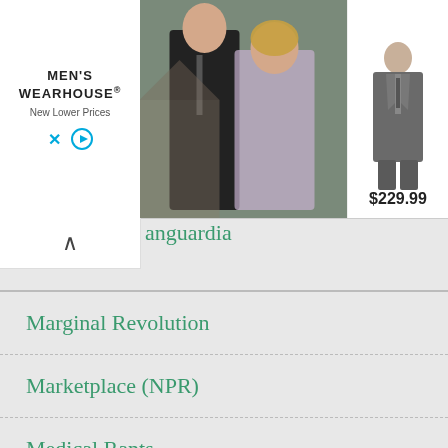[Figure (screenshot): Men's Wearhouse advertisement banner showing a couple in formal wear and a man in a gray suit priced at $229.99, with Men's Wearhouse logo and 'New Lower Prices' tagline]
anguardia
Marginal Revolution
Marketplace (NPR)
Medical Rants
Megan McArdle
Retired Doc's Thoughts